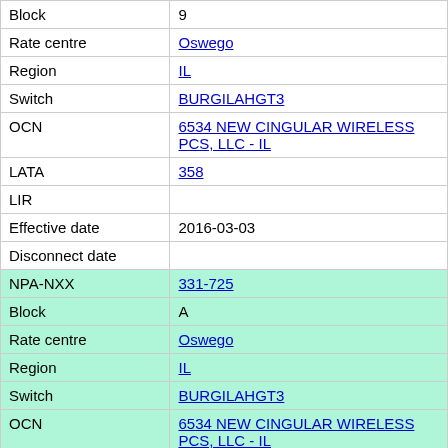| Field | Value |
| --- | --- |
| Block | 9 |
| Rate centre | Oswego |
| Region | IL |
| Switch | BURGILAHGT3 |
| OCN | 6534 NEW CINGULAR WIRELESS PCS, LLC - IL |
| LATA | 358 |
| LIR |  |
| Effective date | 2016-03-03 |
| Disconnect date |  |
| NPA-NXX | 331-725 |
| Block | A |
| Rate centre | Oswego |
| Region | IL |
| Switch | BURGILAHGT3 |
| OCN | 6534 NEW CINGULAR WIRELESS PCS, LLC - IL |
| LATA | 358 |
| LIR |  |
| Effective date |  |
| Disconnect date |  |
| NPA-NXX | 331-725 |